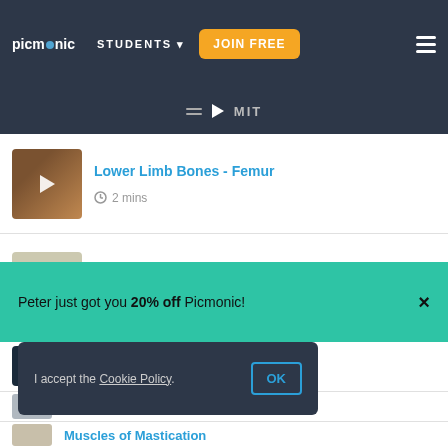picmonic | STUDENTS | JOIN FREE
[Figure (screenshot): Picmonic educational video listing page showing anatomy topics]
Lower Limb Bones - Femur | 2 mins
Pelvic Bones | 1 min
Facial Bones
Peter just got you 20% off Picmonic!
Cranial Bones
I accept the Cookie Policy. | OK
Muscles of Mastication